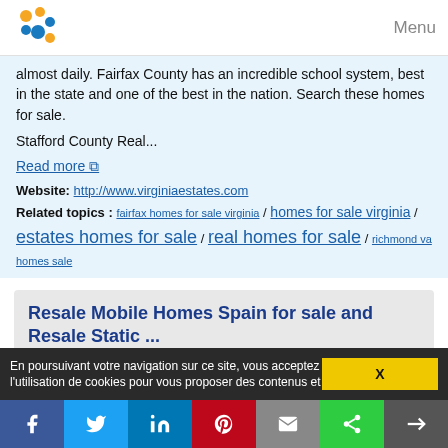Menu
almost daily. Fairfax County has an incredible school system, best in the state and one of the best in the nation. Search these homes for sale.
Stafford County Real...
Read more
Website: http://www.virginiaestates.com
Related topics : fairfax homes for sale virginia / homes for sale virginia / estates homes for sale / real homes for sale / richmond va homes sale
Resale Mobile Homes Spain for sale and Resale Static ...
WHY BUY A RESALE MOBILE HOME
En poursuivant votre navigation sur ce site, vous acceptez l'utilisation de cookies pour vous proposer des contenus et
X